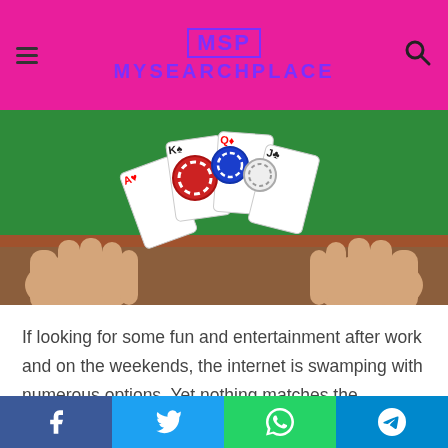MSP MYSEARCHPLACE
[Figure (photo): Hands holding playing cards and poker chips over a green felt surface]
If looking for some fun and entertainment after work and on the weekends, the internet is swamping with numerous options. Yet nothing matches the pleasure of card games. Playing cards is a favorite pastime for many people who essentially are not great fans of poker or gambling. Rummy is a card game that has been played for centuries now and has many different variants. The opponents are generally friendlier and the players can have a lot more interaction with their opponents than poker opponents which makes it more
Facebook | Twitter | WhatsApp | Telegram